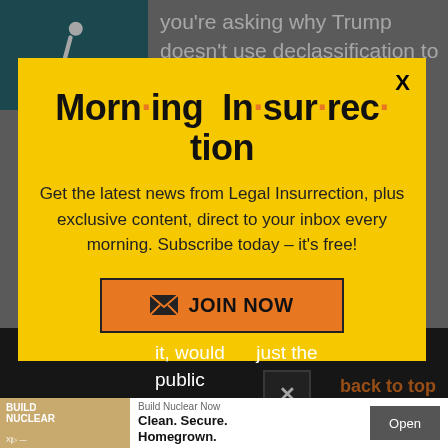you're asking why Trump doesn't use declassification to violate the privacy of an American citizen for the purpose of public embarrassment. I think that should
[Figure (illustration): Wheelchair accessibility icon — white figure on teal/dark cyan background]
Morn·ing In·sur·rec·tion
Get the latest news from Legal Insurrection, plus exclusive content, direct to your inbox every morning. Subscribe today – it's free!
JOIN NOW
it, would be just the public
[Figure (infographic): Advertisement banner: Build Nuclear Now — Clean. Secure. Homegrown. with Open button]